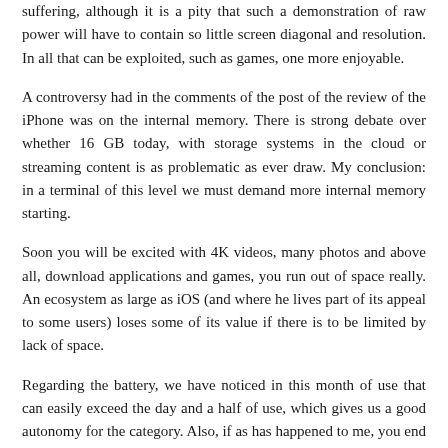suffering, although it is a pity that such a demonstration of raw power will have to contain so little screen diagonal and resolution. In all that can be exploited, such as games, one more enjoyable.
A controversy had in the comments of the post of the review of the iPhone was on the internal memory. There is strong debate over whether 16 GB today, with storage systems in the cloud or streaming content is as problematic as ever draw. My conclusion: in a terminal of this level we must demand more internal memory starting.
Soon you will be excited with 4K videos, many photos and above all, download applications and games, you run out of space really. An ecosystem as large as iOS (and where he lives part of its appeal to some users) loses some of its value if there is to be limited by lack of space.
Regarding the battery, we have noticed in this month of use that can easily exceed the day and a half of use, which gives us a good autonomy for the category. Also, if as has happened to me, you end up using fewer terminals in timeouts at home, you can stretch it